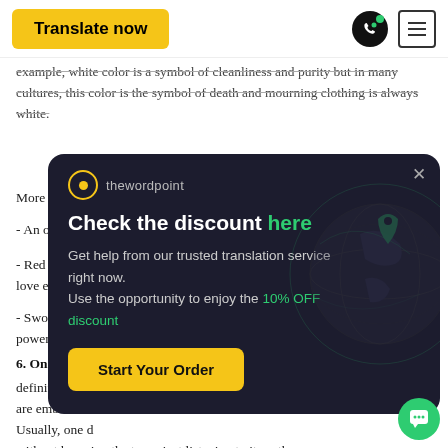Translate now
example, white color is a symbol of cleanliness and purity but in many cultures, this color is the symbol of death and mourning clothing is always white.
More exampl...
- An owl sym...
- Red color m... love embodie...
- Sword is us... power.
6. Onomatop...
definition, thi... are embodied... Usually, one d... without knowing the term, just listening to it, as these w... are pretty self-explanatory and imitate real sounds. Yet this
[Figure (infographic): Popup overlay for thewordpoint translation service with 'Check the discount here' headline, body text offering 10% OFF discount, and a Start Your Order button. Dark background with globe graphic.]